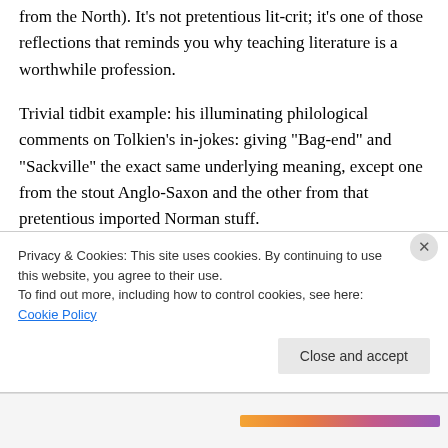from the North). It’s not pretentious lit-crit; it’s one of those reflections that reminds you why teaching literature is a worthwhile profession.
Trivial tidbit example: his illuminating philological comments on Tolkien’s in-jokes: giving “Bag-end” and “Sackville” the exact same underlying meaning, except one from the stout Anglo-Saxon and the other from that pretentious imported Norman stuff.
Privacy & Cookies: This site uses cookies. By continuing to use this website, you agree to their use.
To find out more, including how to control cookies, see here: Cookie Policy